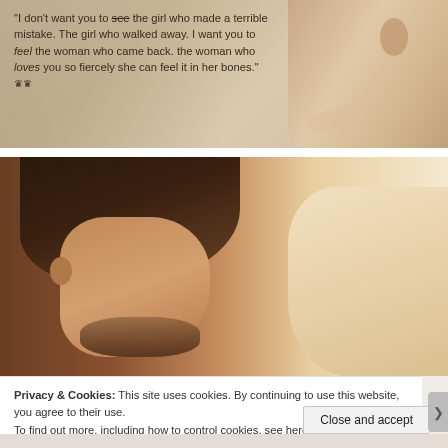[Figure (photo): Photo of a person with a text overlay quote on a warm-toned background with a figure resting]
"I don't want you to see the girl who made a terrible mistake. The girl who walked away. I want you to feel the woman who came back. the woman who loves you so fiercely she can feel it in her bones."
[Figure (photo): Close-up profile photo of a man with dark hair and beard looking downward, warm toned]
Privacy & Cookies: This site uses cookies. By continuing to use this website, you agree to their use.
To find out more, including how to control cookies, see here: Cookie Policy
Close and accept